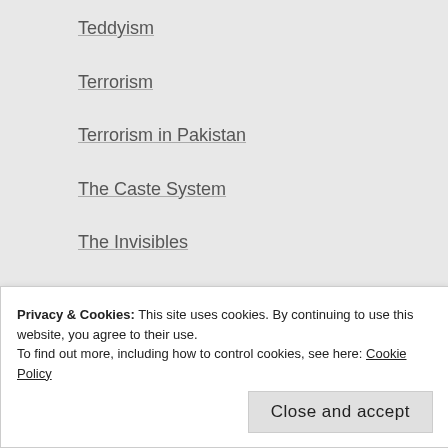Teddyism
Terrorism
Terrorism in Pakistan
The Caste System
The Invisibles
Turkey's Secularism under Threat
UN Peacekeepers
Uncategorized
United Nations
United States Immigration Policy
Privacy & Cookies: This site uses cookies. By continuing to use this website, you agree to their use.
To find out more, including how to control cookies, see here: Cookie Policy
Close and accept